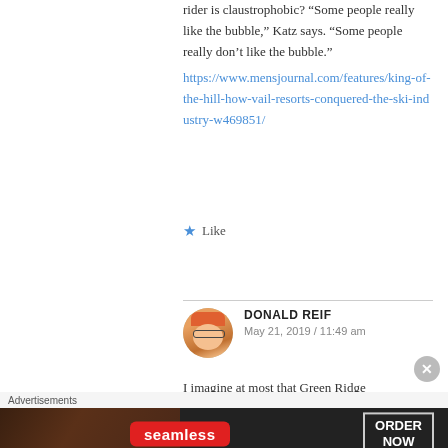rider is claustrophobic? “Some people really like the bubble,” Katz says. “Some people really don’t like the bubble.” https://www.mensjournal.com/features/king-of-the-hill-how-vail-resorts-conquered-the-ski-industry-w469851/
★ Like
DONALD REIF
May 21, 2019 / 11:49 am
I imagine at most that Green Ridge
[Figure (photo): Circular avatar photo of Donald Reif wearing a hat and sunglasses, with an orange/warm-toned background.]
Advertisements
[Figure (photo): Seamless food delivery advertisement banner showing pizza, the Seamless logo, and an ORDER NOW button.]